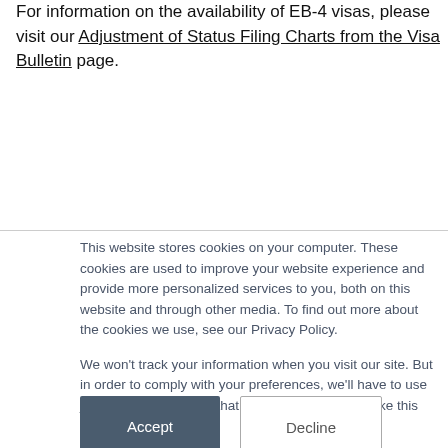For information on the availability of EB-4 visas, please visit our Adjustment of Status Filing Charts from the Visa Bulletin page.
This website stores cookies on your computer. These cookies are used to improve your website experience and provide more personalized services to you, both on this website and through other media. To find out more about the cookies we use, see our Privacy Policy.
We won't track your information when you visit our site. But in order to comply with your preferences, we'll have to use just one tiny cookie so that you're not asked to make this choice again.